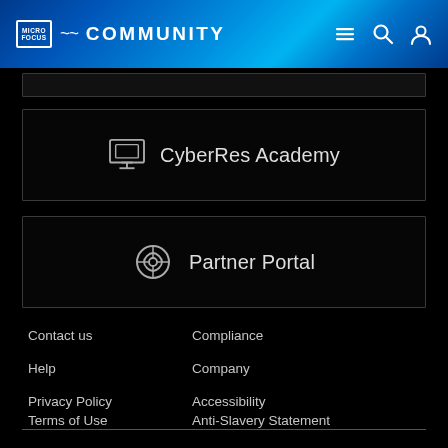Micro Focus Community
[Figure (screenshot): Partial top navigation bar (cutoff)]
CyberRes Academy
Partner Portal
Contact us
Compliance
Help
Company
Privacy Policy
Accessibility
Terms of Use
Anti-Slavery Statement
Support
Careers
How To Buy
Investor Relations